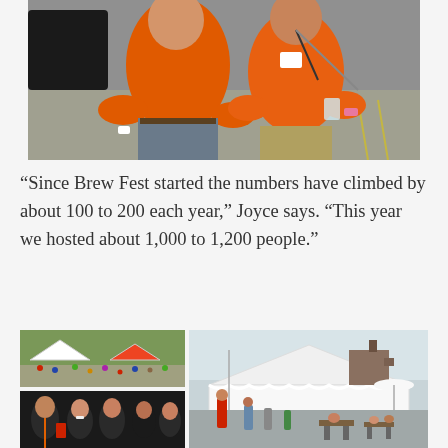[Figure (photo): Two men wearing orange t-shirts posing together outdoors, likely at a Brew Fest event. One has a lanyard/badge. One holds a drink. Parking lot visible in background.]
“Since Brew Fest started the numbers have climbed by about 100 to 200 each year,” Joyce says. “This year we hosted about 1,000 to 1,200 people.”
[Figure (photo): Outdoor festival crowd scene with tents, many attendees walking around.]
[Figure (photo): Group of smiling people at an indoor/tent event, holding drinks.]
[Figure (photo): Large white tent with crowd of festival attendees seated and standing, brick building visible in background.]